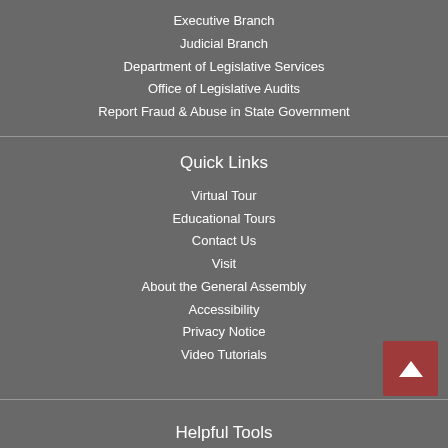Executive Branch
Judicial Branch
Department of Legislative Services
Office of Legislative Audits
Report Fraud & Abuse in State Government
Quick Links
Virtual Tour
Educational Tours
Contact Us
Visit
About the General Assembly
Accessibility
Privacy Notice
Video Tutorials
Helpful Tools